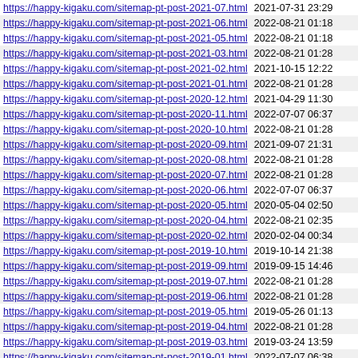| URL | Date |
| --- | --- |
| https://happy-kigaku.com/sitemap-pt-post-2021-07.html | 2021-07-31 23:29 |
| https://happy-kigaku.com/sitemap-pt-post-2021-06.html | 2022-08-21 01:18 |
| https://happy-kigaku.com/sitemap-pt-post-2021-05.html | 2022-08-21 01:18 |
| https://happy-kigaku.com/sitemap-pt-post-2021-03.html | 2022-08-21 01:28 |
| https://happy-kigaku.com/sitemap-pt-post-2021-02.html | 2021-10-15 12:22 |
| https://happy-kigaku.com/sitemap-pt-post-2021-01.html | 2022-08-21 01:28 |
| https://happy-kigaku.com/sitemap-pt-post-2020-12.html | 2021-04-29 11:30 |
| https://happy-kigaku.com/sitemap-pt-post-2020-11.html | 2022-07-07 06:37 |
| https://happy-kigaku.com/sitemap-pt-post-2020-10.html | 2022-08-21 01:28 |
| https://happy-kigaku.com/sitemap-pt-post-2020-09.html | 2021-09-07 21:31 |
| https://happy-kigaku.com/sitemap-pt-post-2020-08.html | 2022-08-21 01:28 |
| https://happy-kigaku.com/sitemap-pt-post-2020-07.html | 2022-08-21 01:28 |
| https://happy-kigaku.com/sitemap-pt-post-2020-06.html | 2022-07-07 06:37 |
| https://happy-kigaku.com/sitemap-pt-post-2020-05.html | 2020-05-04 02:50 |
| https://happy-kigaku.com/sitemap-pt-post-2020-04.html | 2022-08-21 02:35 |
| https://happy-kigaku.com/sitemap-pt-post-2020-02.html | 2020-02-04 00:34 |
| https://happy-kigaku.com/sitemap-pt-post-2019-10.html | 2019-10-14 21:38 |
| https://happy-kigaku.com/sitemap-pt-post-2019-09.html | 2019-09-15 14:46 |
| https://happy-kigaku.com/sitemap-pt-post-2019-07.html | 2022-08-21 01:28 |
| https://happy-kigaku.com/sitemap-pt-post-2019-06.html | 2022-08-21 01:28 |
| https://happy-kigaku.com/sitemap-pt-post-2019-05.html | 2019-05-26 01:13 |
| https://happy-kigaku.com/sitemap-pt-post-2019-04.html | 2022-08-21 01:28 |
| https://happy-kigaku.com/sitemap-pt-post-2019-03.html | 2019-03-24 13:59 |
| https://happy-kigaku.com/sitemap-pt-post-2019-01.html | 2022-07-07 06:38 |
| https://happy-kigaku.com/sitemap-pt-post-2018-12.html | 2022-07-07 06:38 |
| https://happy-kigaku.com/sitemap-pt-post-2018-10.html | 2022-08-21 01:15 |
| https://happy-kigaku.com/sitemap-pt-post-2018-09.html | 2022-08-21 02:22 |
| https://happy-kigaku.com/sitemap-pt-post-2018-08.html | 2022-08-21 01:28 |